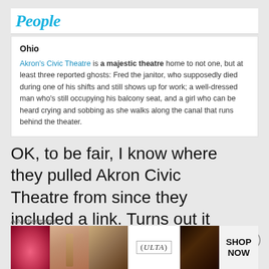People
Ohio
Akron's Civic Theatre is a majestic theatre home to not one, but at least three reported ghosts: Fred the janitor, who supposedly died during one of his shifts and still shows up for work; a well-dressed man who's still occupying his balcony seat, and a girl who can be heard crying and sobbing as she walks along the canal that runs behind the theater.
OK, to be fair, I know where they pulled Akron Civic Theatre from since they included a link. Turns out it came from some book, Weird Ohio. You might have heard of it. So I'm
[Figure (screenshot): Advertisement banner showing Ulta Beauty cosmetics ad with makeup images and SHOP NOW text]